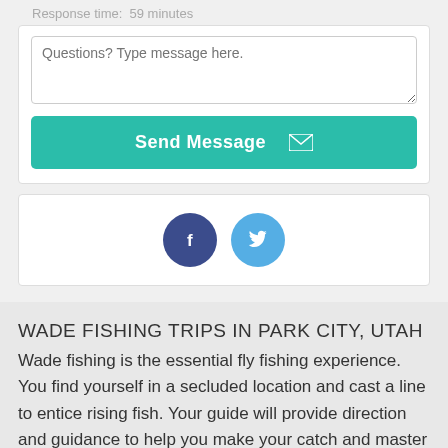Response time: 59 minutes
[Figure (screenshot): Text area input field with placeholder 'Questions? Type message here.']
[Figure (screenshot): Teal 'Send Message' button with envelope icon]
[Figure (screenshot): Social media share buttons: Facebook (dark blue circle with 'f') and Twitter (light blue circle with bird icon)]
WADE FISHING TRIPS IN PARK CITY, UTAH
Wade fishing is the essential fly fishing experience. You find yourself in a secluded location and cast a line to entice rising fish. Your guide will provide direction and guidance to help you make your catch and master the art of fly fishing.. Wade fishing is the best selection for a